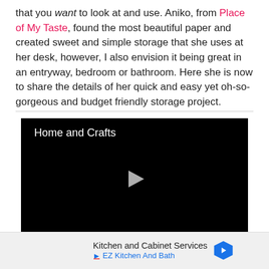that you want to look at and use. Aniko, from Place of My Taste, found the most beautiful paper and created sweet and simple storage that she uses at her desk, however, I also envision it being great in an entryway, bedroom or bathroom. Here she is now to share the details of her quick and easy yet oh-so-gorgeous and budget friendly storage project.
[Figure (screenshot): Black video player with title 'Home and Crafts' in white text at top-left and a grey play button triangle in the center.]
Kitchen and Cabinet Services EZ Kitchen And Bath